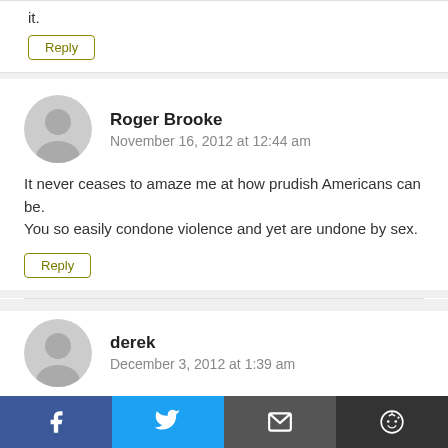it.
Reply
Roger Brooke
November 16, 2012 at 12:44 am
It never ceases to amaze me at how prudish Americans can be.
You so easily condone violence and yet are undone by sex.
Reply
derek
December 3, 2012 at 1:39 am
Facebook Twitter Email Reddit